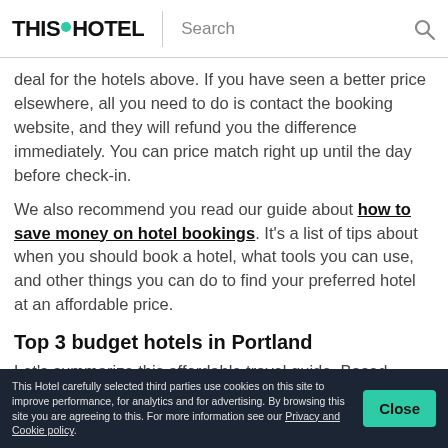THIS HOTEL | Search
deal for the hotels above. If you have seen a better price elsewhere, all you need to do is contact the booking website, and they will refund you the difference immediately. You can price match right up until the day before check-in.
We also recommend you read our guide about how to save money on hotel bookings. It's a list of tips about when you should book a hotel, what tools you can use, and other things you can do to find your preferred hotel at an affordable price.
Top 3 budget hotels in Portland
Let's summarize this affordable travel guide. Based
This Hotel carefully selected third parties use cookies on this site to improve performance, for analytics and for advertising. By browsing this site you are agreeing to this. For more information see our Privacy and Cookie policy.